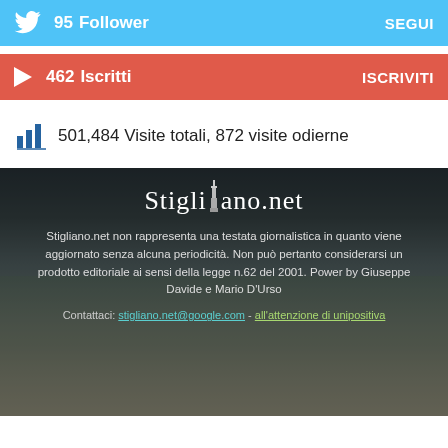95  Follower  SEGUI
462  Iscritti  ISCRIVITI
501,484 Visite totali,  872 visite odierne
[Figure (screenshot): Footer section of Stigliano.net website with aerial photo of Stigliano town, site title, disclaimer text, and contact links]
Stigliano.net non rappresenta una testata giornalistica in quanto viene aggiornato senza alcuna periodicità. Non può pertanto considerarsi un prodotto editoriale ai sensi della legge n.62 del 2001. Power by Giuseppe Davide e Mario D'Urso
Contattaci: